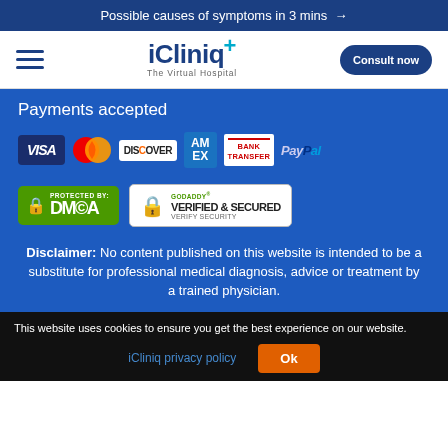Possible causes of symptoms in 3 mins →
[Figure (logo): iCliniq+ The Virtual Hospital logo with hamburger menu and Consult now button]
Payments accepted
[Figure (infographic): Payment method logos: VISA, Mastercard, Discover, American Express, Bank Transfer, PayPal]
[Figure (infographic): Security badges: DMCA Protected and GoDaddy Verified & Secured]
Disclaimer: No content published on this website is intended to be a substitute for professional medical diagnosis, advice or treatment by a trained physician.
This website uses cookies to ensure you get the best experience on our website. iCliniq privacy policy  Ok